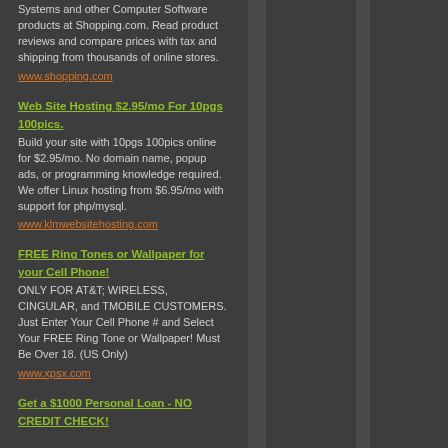Systems and other Computer Software products at Shopping.com. Read product reviews and compare prices with tax and shipping from thousands of online stores.
www.shopping.com
Web Site Hosting $2.95/mo For 10pgs 100pics.
Build your site with 10pgs 100pics online for $2.95/mo. No domain name, popup ads, or programming knowledge required. We offer Linux hosting from $6.95/mo with support for php/mysql.
www.klmwebsitehosting.com
FREE Ring Tones or Wallpaper for your Cell Phone!
ONLY FOR AT&T; WIRELESS, CINGULAR, and TMOBILE CUSTOMERS. Just Enter Your Cell Phone # and Select Your FREE Ring Tone or Wallpaper! Must Be Over 18. (US Only)
www.xpsx.com
Get a $1000 Personal Loan - NO CREDIT CHECK!